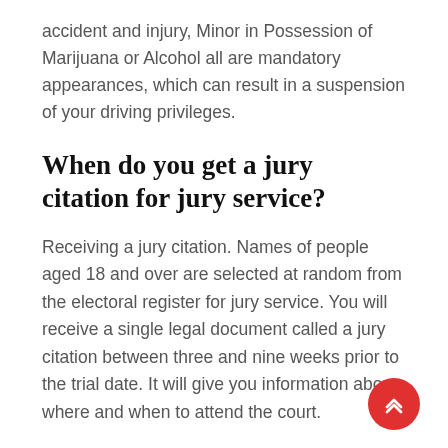accident and injury, Minor in Possession of Marijuana or Alcohol all are mandatory appearances, which can result in a suspension of your driving privileges.
When do you get a jury citation for jury service?
Receiving a jury citation. Names of people aged 18 and over are selected at random from the electoral register for jury service. You will receive a single legal document called a jury citation between three and nine weeks prior to the trial date. It will give you information about where and when to attend the court.